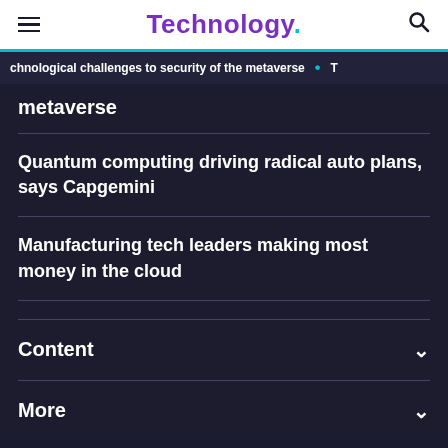Technology.
chnological challenges to security of the metaverse • T
metaverse
Quantum computing driving radical auto plans, says Capgemini
Manufacturing tech leaders making most money in the cloud
Content
More